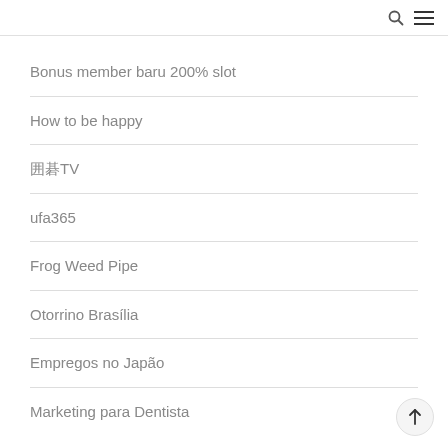Bonus member baru 200% slot
How to be happy
囲碁TV
ufa365
Frog Weed Pipe
Otorrino Brasília
Empregos no Japão
Marketing para Dentista